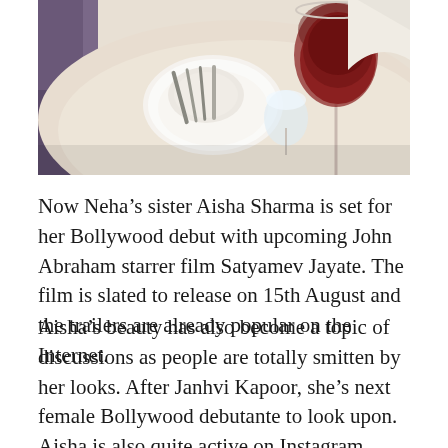[Figure (photo): A restaurant table setting with cutlery, a plate, wine glass with red wine, and a water glass on a white tablecloth. Purple chair visible in background.]
Now Neha's sister Aisha Sharma is set for her Bollywood debut with upcoming John Abraham starrer film Satyamev Jayate. The film is slated to release on 15th August and the trailers are already popular on the Internet.
Aisha's beauty has also become a topic of discussions as people are totally smitten by her looks. After Janhvi Kapoor, she's next female Bollywood debutante to look upon. Aisha is also quite active on Instagram where she keeps on sharing her hot photos. We bring you some of her